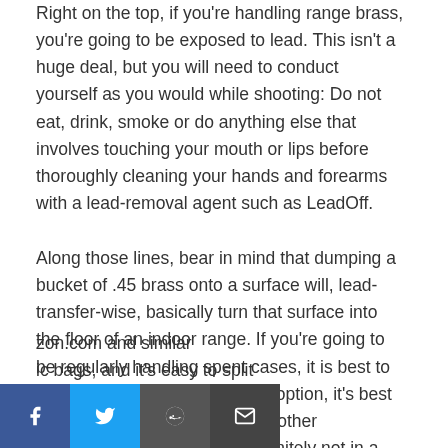Right on the top, if you're handling range brass, you're going to be exposed to lead. This isn't a huge deal, but you will need to conduct yourself as you would while shooting: Do not eat, drink, smoke or do anything else that involves touching your mouth or lips before thoroughly cleaning your hands and forearms with a lead-removal agent such as LeadOff.
Along those lines, bear in mind that dumping a bucket of .45 brass onto a surface will, lead-transfer-wise, basically turn that surface into the floor of an indoor range. If you're going to be regularly handling spent cases, it is best to do so outdoors. If that's not an option, it's best done over newspaper or some other disposable membrane and definitely not in a food-prep
zon.com and similar
ic bags, and it's easy to split